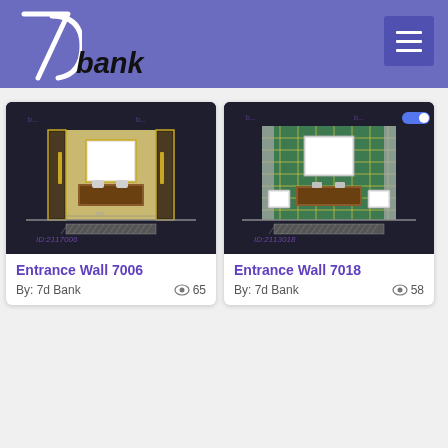7d bank
[Figure (engineering-diagram): CAD elevation drawing of bathroom entrance wall 7006 with mirror, vanity, wall panels, and ceiling, dark background with purple watermark]
Entrance Wall 7006
By: 7d Bank   65 views
[Figure (engineering-diagram): CAD elevation drawing of bathroom entrance wall 7018 with mirror, vanity, green tile wall, chairs on sides, dark background with purple watermark]
Entrance Wall 7018
By: 7d Bank   58 views